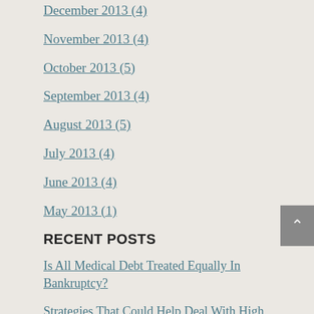December 2013 (4)
November 2013 (4)
October 2013 (5)
September 2013 (4)
August 2013 (5)
July 2013 (4)
June 2013 (4)
May 2013 (1)
RECENT POSTS
Is All Medical Debt Treated Equally In Bankruptcy?
Strategies That Could Help Deal With High Medical Debt Loads
Tips To Handle Debt During Divorce